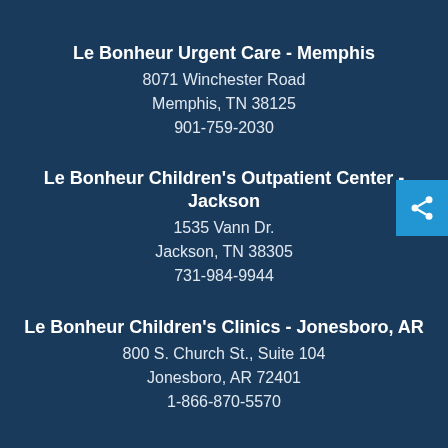Le Bonheur Urgent Care - Memphis
8071 Winchester Road
Memphis, TN 38125
901-759-2030
Le Bonheur Children's Outpatient Center - Jackson
1535 Vann Dr.
Jackson, TN 38305
731-984-9944
Le Bonheur Children's Clinics - Jonesboro, AR
800 S. Church St., Suite 104
Jonesboro, AR 72401
1-866-870-5570